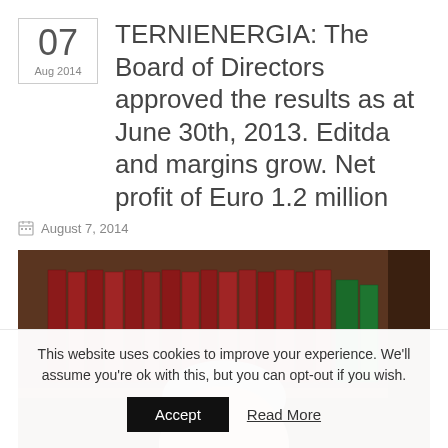07
Aug 2014
TERNIENERGIA: The Board of Directors approved the results as at June 30th, 2013. Editda and margins grow. Net profit of Euro 1.2 million
August 7, 2014
[Figure (photo): A man partially visible below a bookshelf with red and green books in a dark wood bookcase]
This website uses cookies to improve your experience. We'll assume you're ok with this, but you can opt-out if you wish.
Accept   Read More